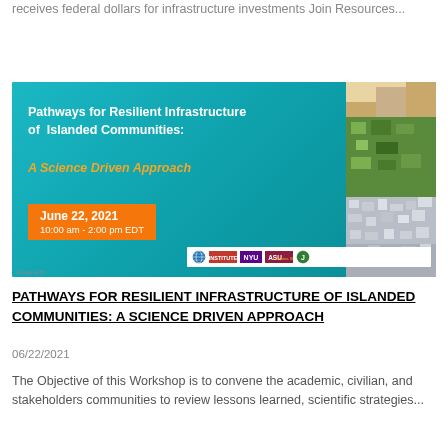receives federal dollars for infrastructure investments Join Resources...
[Figure (photo): Banner image for the 'Pathways for Resilient Infrastructure of Islanded Communities: A Science Driven Approach' workshop on June 22, 2021, 10:00 am - 2:00 pm EDT. Background is teal/blue-green with a satellite aerial photograph on the right side. Sponsor logos shown at bottom including NYU, ASU, and others.]
PATHWAYS FOR RESILIENT INFRASTRUCTURE OF ISLANDED COMMUNITIES: A SCIENCE DRIVEN APPROACH
06/22/2021
The Objective of this Workshop is to convene the academic, civilian, and stakeholders communities to review lessons learned, scientific strategies...